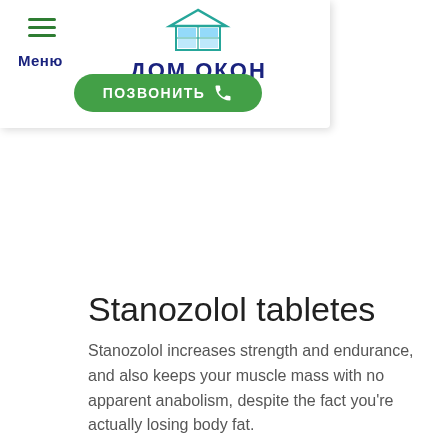[Figure (logo): Dom Okon (Дом Окон) company logo with building/window icon and navigation menu button, plus green call button with text ПОЗВОНИТЬ]
Stanozolol tabletes
Stanozolol increases strength and endurance, and also keeps your muscle mass with no apparent anabolism, despite the fact you're actually losing body fat.
How do I know if I'm taking it right, mk 2866